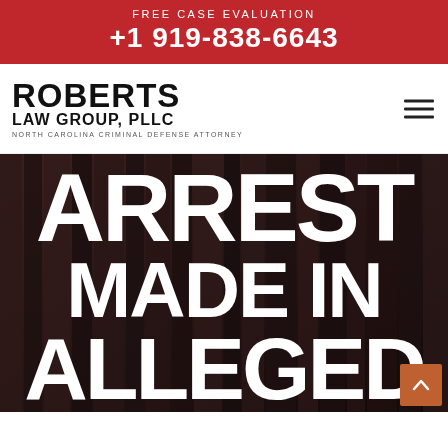FREE CASE EVALUATION +1 919-838-6643
[Figure (logo): Roberts Law Group, PLLC logo — North Carolina Criminal Defense Attorney]
[Figure (photo): Dark background of law books with large white bold text overlay reading ARREST MADE IN ALLEGED (partially cropped)]